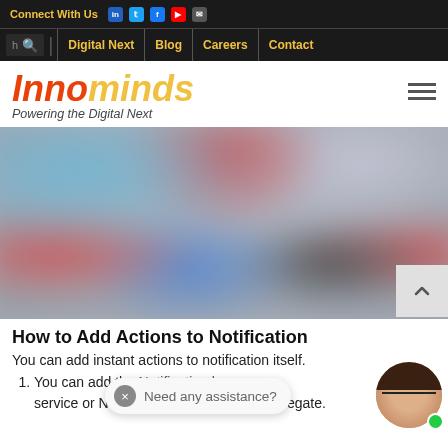Connect With Us | Digital Next | Blog | Careers | Contact
Innominds – Powering the Digital Next
[Figure (photo): Blurred/defocused close-up of smartphone apps screen showing colorful app icons on gray background]
How to Add Actions to Notification
You can add instant actions to notification itself.
You can add the Notification service or Notification content or App Delegate.